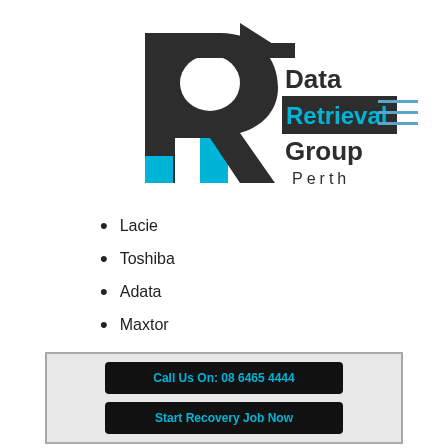[Figure (logo): Data Retrieval Group Perth logo with stylized R arrow icon in dark gray and cyan blue]
Lacie
Toshiba
Adata
Maxtor
Call Us On: 08 6465 4444
Start Recovery Job Now